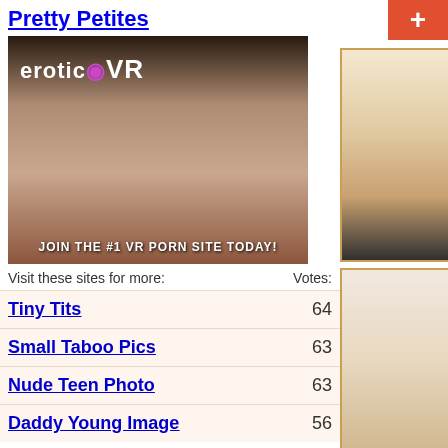Pretty Petites
[Figure (photo): EroticVR banner ad with text 'erotic VR' and 'JOIN THE #1 VR PORN SITE TODAY!']
Visit these sites for more:	Votes:
Tiny Tits — 64
Small Taboo Pics — 63
Nude Teen Photo — 63
Daddy Young Image — 56
[Figure (photo): Right sidebar top photo of a woman]
[Figure (photo): Right sidebar bottom photo of a woman on a bed]